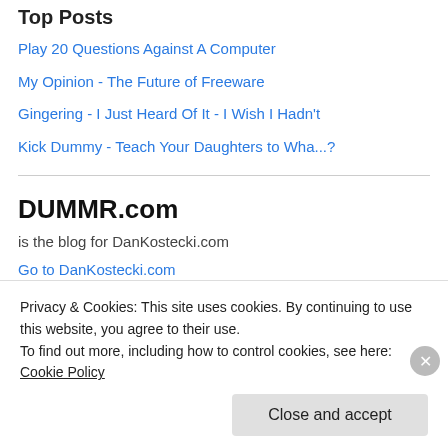Top Posts
Play 20 Questions Against A Computer
My Opinion - The Future of Freeware
Gingering - I Just Heard Of It - I Wish I Hadn't
Kick Dummy - Teach Your Daughters to Wha...?
DUMMR.com
is the blog for DanKostecki.com
Go to DanKostecki.com
Go to STL Papers
Go to Woodwork
Go to FreeFile Reviews
Privacy & Cookies: This site uses cookies. By continuing to use this website, you agree to their use.
To find out more, including how to control cookies, see here: Cookie Policy
Close and accept